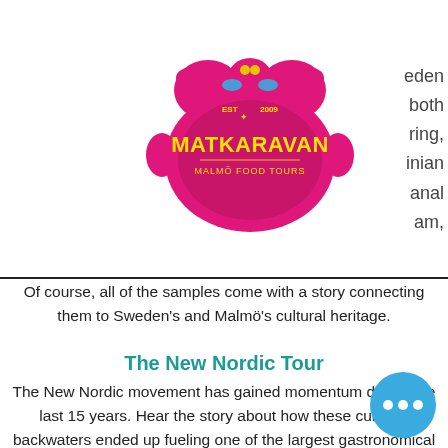[Figure (logo): Matkaravan Malmö Food Tours logo — pink ornate badge shape with yellow text MATKARAVAN and subtitle MALMÖ FOOD TOURS, EST 2009]
eden
both
ring,
inian
anal
am,
Of course, all of the samples come with a story connecting them to Sweden's and Malmö's cultural heritage.
The New Nordic Tour
The New Nordic movement has gained momentum during the last 15 years. Hear the story about how these culinary backwaters ended up fueling one of the largest gastronomical trends right now. We will visit both restaurants and shops and try some of the rediscovered wild ingredients, such as spruce tips, pickled rosehips, ramson capers, different fermented foods and of course, natural wine. A tour